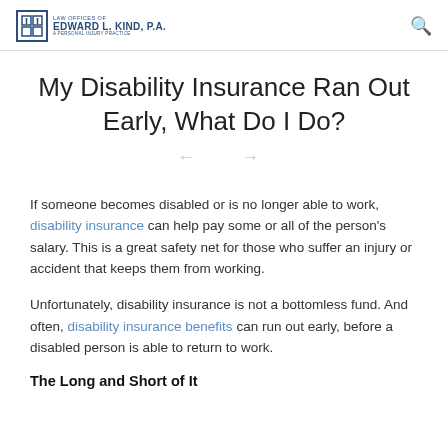Law Offices of Edward L. Kind, P.A. — A Personal Injury Practice
My Disability Insurance Ran Out Early, What Do I Do?
If someone becomes disabled or is no longer able to work, disability insurance can help pay some or all of the person's salary. This is a great safety net for those who suffer an injury or accident that keeps them from working.
Unfortunately, disability insurance is not a bottomless fund. And often, disability insurance benefits can run out early, before a disabled person is able to return to work.
The Long and Short of It